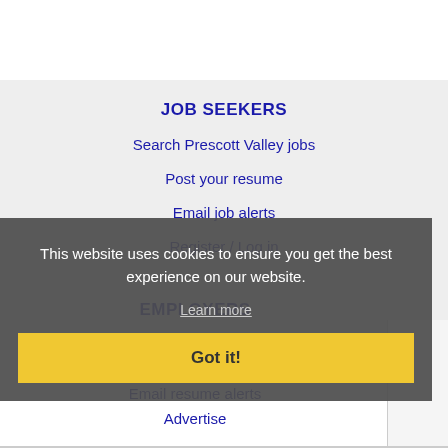JOB SEEKERS
Search Prescott Valley jobs
Post your resume
Email job alerts
Register / Log in
EMPLOYERS
Post jobs
Search resumes
Email resume alerts
Advertise
This website uses cookies to ensure you get the best experience on our website.
Learn more
Got it!